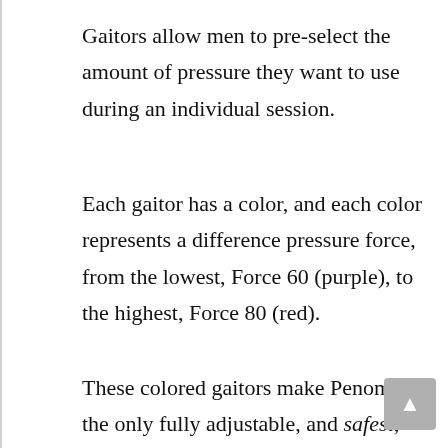Gaitors allow men to pre-select the amount of pressure they want to use during an individual session.
Each gaitor has a color, and each color represents a difference pressure force, from the lowest, Force 60 (purple), to the highest, Force 80 (red).
These colored gaitors make Penomet the only fully adjustable, and safest, penis pump on the market today.